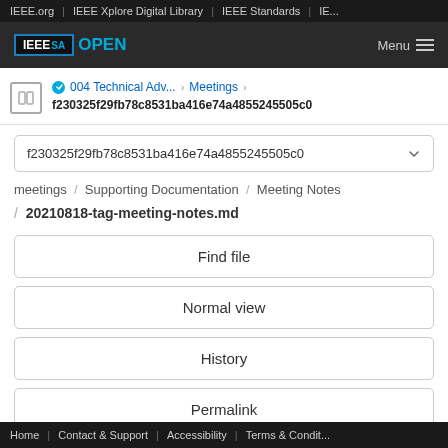IEEE.org | IEEE Xplore Digital Library | IEEE Standards | IE...
[Figure (logo): IEEE SA OPEN logo with navigation menu button]
004 Technical Adv... > Meetings > f230325f29fb78c8531ba416e74a4855245505c0
f230325f29fb78c8531ba416e74a4855245505c0
meetings / Supporting Documentation / Meeting Notes
/ 20210818-tag-meeting-notes.md
Find file
Normal view
History
Permalink
Home | Contact & Support | Accessibility | Terms & Condit...